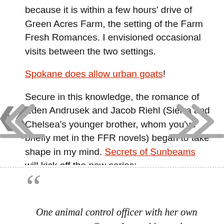because it is within a few hours' drive of Green Acres Farm, the setting of the Farm Fresh Romances. I envisioned occasional visits between the two settings.
Spokane does allow urban goats!
Secure in this knowledge, the romance of Eden Andrusek and Jacob Riehl (Sierra and Chelsea's younger brother, whom you've briefly met in the FFR novels) began to take shape in my mind. Secrets of Sunbeams will kick off the new series:
One animal control officer with her own escapee goat. One solar architect whose